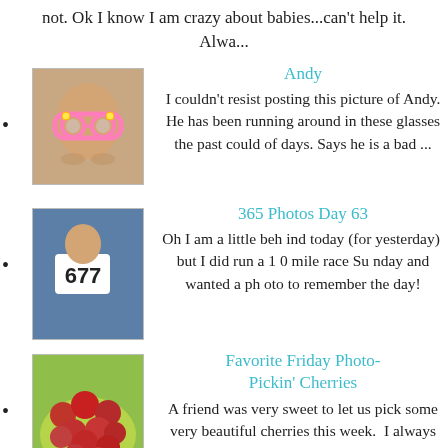not. Ok I know I am crazy about babies...can't help it. Alwa...
Andy
I couldn't resist posting this picture of Andy. He has been running around in these glasses the past could of days. Says he is a bad ...
365 Photos Day 63
Oh I am a little beh ind today (for yesterday)  but I did run a 1 0 mile race Su nday and wanted a ph oto to remember the day!
Favorite Friday Photo-Pickin' Cherries
A friend was very sweet to let us pick some very beautiful cherries this week.  I always have these events built up in my mind about a fa...